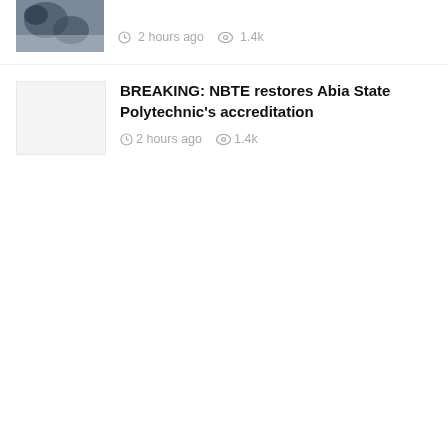[Figure (photo): Thumbnail image of a dark-toned outdoor/satellite photo, partially visible at top]
2 hours ago  1.4k
[Figure (photo): Light gray placeholder thumbnail image]
BREAKING: NBTE restores Abia State Polytechnic's accreditation
2 hours ago  1.4k